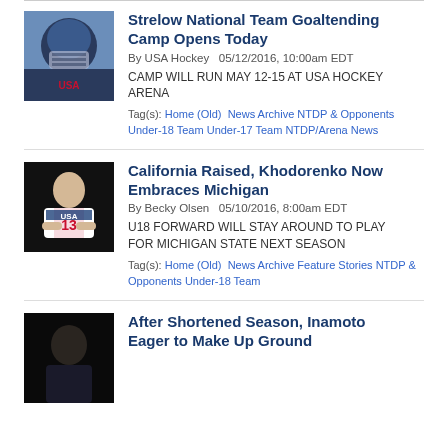Strelow National Team Goaltending Camp Opens Today — By USA Hockey 05/12/2016, 10:00am EDT — CAMP WILL RUN MAY 12-15 AT USA HOCKEY ARENA — Tag(s): Home (Old) News Archive NTDP & Opponents Under-18 Team Under-17 Team NTDP/Arena News
California Raised, Khodorenko Now Embraces Michigan — By Becky Olsen 05/10/2016, 8:00am EDT — U18 FORWARD WILL STAY AROUND TO PLAY FOR MICHIGAN STATE NEXT SEASON — Tag(s): Home (Old) News Archive Feature Stories NTDP & Opponents Under-18 Team
After Shortened Season, Inamoto Eager to Make Up Ground